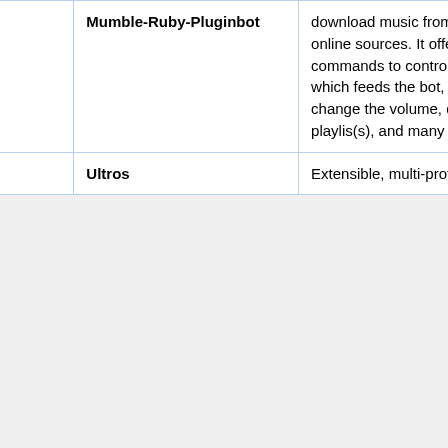|  | Name | Description | Language |
| --- | --- | --- | --- |
|  | Mumble-Ruby-Pluginbot | download music from Youtube and other online sources. It offers many commands to control the MPD session which feeds the bot, for example to change the volume, display and load playlis(s), and many more. | Ru... |
|  | Ultros | Extensible, multi-protocol, | Py... |